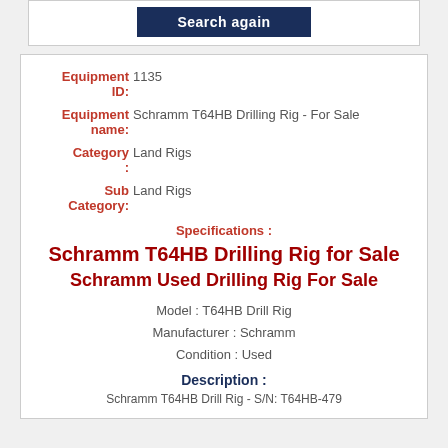[Figure (other): Search again button in dark navy blue]
Equipment ID: 1135
Equipment name: Schramm T64HB Drilling Rig - For Sale
Category: Land Rigs
Sub Category: Land Rigs
Specifications :
Schramm T64HB Drilling Rig for Sale
Schramm Used Drilling Rig For Sale
Model : T64HB Drill Rig
Manufacturer : Schramm
Condition : Used
Description :
Schramm T64HB Drill Rig - S/N: T64HB-479